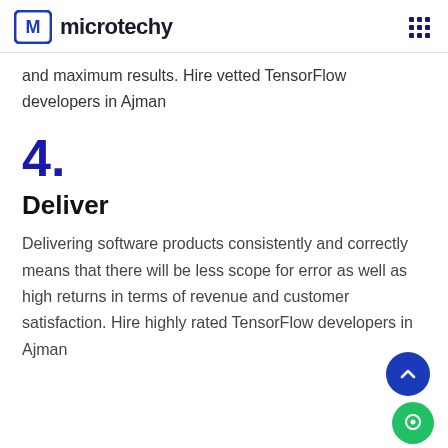microtechy
and maximum results. Hire vetted TensorFlow developers in Ajman
4.
Deliver
Delivering software products consistently and correctly means that there will be less scope for error as well as high returns in terms of revenue and customer satisfaction. Hire highly rated TensorFlow developers in Ajman